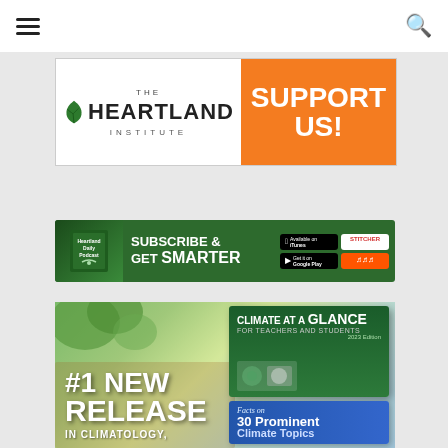Navigation header with hamburger menu and search icon
[Figure (logo): The Heartland Institute logo with orange SUPPORT US! banner]
[Figure (infographic): Heartland Daily Podcast banner: SUBSCRIBE & GET SMARTER with app store badges]
[Figure (infographic): #1 NEW RELEASE IN CLIMATOLOGY with Climate at a Glance book cover showing Facts on 30 Prominent Climate Topics]